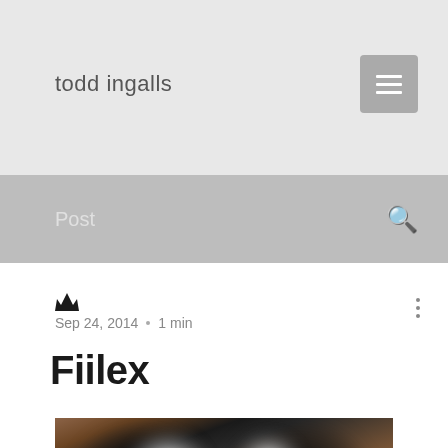todd ingalls
Post
Sep 24, 2014  •  1 min
Fiilex
[Figure (photo): Blurred photo showing two circular light sources (bokeh) against a dark brown and black background]